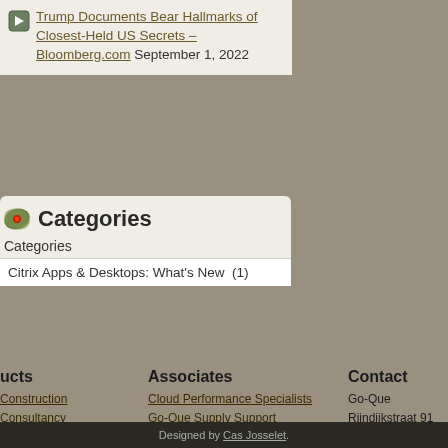Trump Documents Bear Hallmarks of Closest-Held US Secrets – Bloomberg.com September 1, 2022
Categories
Categories
Citrix Apps & Desktops: What's New  (1)
ucts
Construction
Consultancy
ns in Citrix
ns in virtual
nments
ns in VMware
ssment
Associates
Cloud Performance Specialists
Go-Que Supply Support
Secure
Go-Que Demo portal
Contact
Go-Que
Rijndijkstraat 91
2313NJ, Leiden
The Netherlands
T: +31-71-7110374
M: +31-6-18730993
e: info@go-que.com
Designed by Cas Josselet.